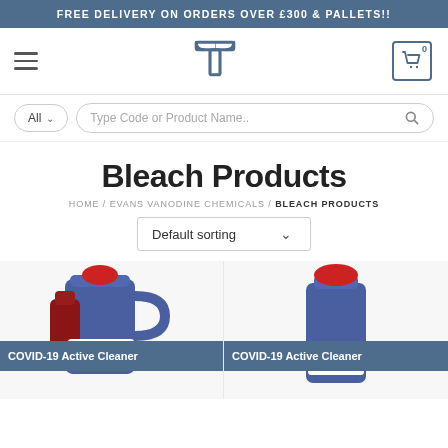FREE DELIVERY ON ORDERS OVER £300 & PALLETS!!
[Figure (screenshot): Navigation bar with hamburger menu, stylized T logo, and shopping cart icon showing 0]
[Figure (screenshot): Search bar with All dropdown and Type Code or Product Name.. placeholder with search icon]
Bleach Products
HOME / EVANS VANODINE CHEMICALS / BLEACH PRODUCTS
Default sorting
[Figure (photo): Product card showing Evans Cyclone bleach product with COVID-19 Active Cleaner badge overlay, red cap visible on blue bottle]
[Figure (photo): Product card showing Evans Cyclone bleach product with COVID-19 Active Cleaner badge overlay]